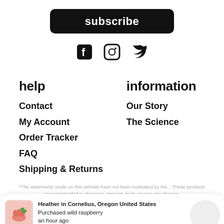subscribe
[Figure (illustration): Social media icons: Facebook, Instagram, Twitter]
help
information
Contact
Our Story
My Account
The Science
Order Tracker
FAQ
Shipping & Returns
Heather in Cornelius, Oregon United States
Purchased wild raspberry
an hour ago
*The statements made on this website have not been evaluated by the... These products are not intended to diagnose, prevent, treat, or cure any disease.